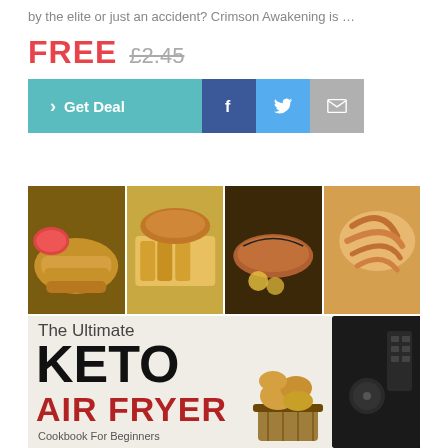by the elite or just an accident? Crimson Awakening is …
FREE £2.45
[Figure (screenshot): Action buttons row: teal Get Deal button, Facebook share button, Twitter share button, email share button]
[Figure (photo): Four-panel food collage showing fried fish fingers, grilled chicken with chips, grilled fish with lemon, and fried shrimp]
[Figure (photo): Book cover: The Ultimate KETO AIR FRYER Cookbook For Beginners with photo of fried food in basket and air fryer appliance on right]